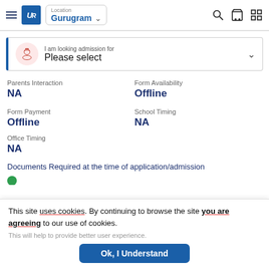Header with logo UR, Location: Gurugram, search/cart/grid icons
I am looking admission for
Please select
Parents Interaction
NA
Form Availability
Offline
Form Payment
Offline
School Timing
NA
Office Timing
NA
Documents Required at the time of application/admission
This site uses cookies. By continuing to browse the site you are agreeing to our use of cookies.
This will help to provide better user experience.
Ok, I Understand